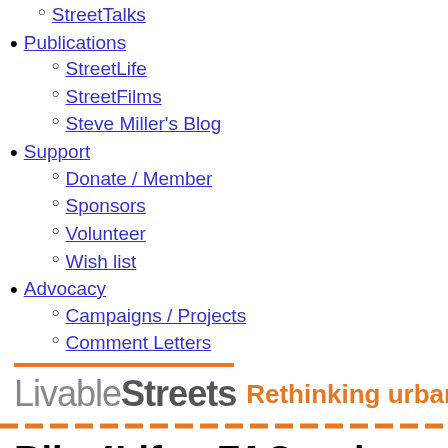StreetTalks
Publications
StreetLife
StreetFilms
Steve Miller's Blog
Support
Donate / Member
Sponsors
Volunteer
Wish list
Advocacy
Campaigns / Projects
Comment Letters
[Figure (logo): LivableStreets logo with tagline 'Rethinking urban transport']
Bike4Life - FAQ, prizes, BBQ & more